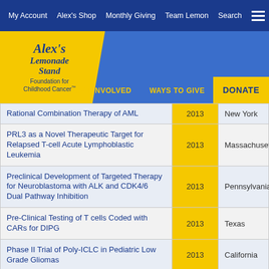My Account | Alex's Shop | Monthly Giving | Team Lemon | Search
[Figure (logo): Alex's Lemonade Stand Foundation for Childhood Cancer logo]
GET INVOLVED | WAYS TO GIVE | DONATE
| Grant Title | Year | State |
| --- | --- | --- |
| Rational Combination Therapy of AML | 2013 | New York |
| PRL3 as a Novel Therapeutic Target for Relapsed T-cell Acute Lymphoblastic Leukemia | 2013 | Massachusetts |
| Preclinical Development of Targeted Therapy for Neuroblastoma with ALK and CDK4/6 Dual Pathway Inhibition | 2013 | Pennsylvania |
| Pre-Clinical Testing of T cells Coded with CARs for DIPG | 2013 | Texas |
| Phase II Trial of Poly-ICLC in Pediatric Low Grade Gliomas | 2013 | California |
| PainSquad+: A Smartphone App to |  |  |